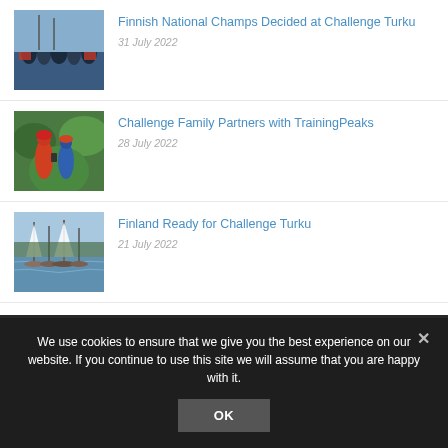[Figure (photo): Triathlon athletes celebrating at finish line with red banners]
Finnish National Champs Decided at Challenge Turku
31 July 2022
[Figure (photo): Two cyclists with helmets looking at a phone near green trees]
Challenge Family Partners with TrainingPeaks
28 July 2022
[Figure (photo): River or harbour with sailboats and masts visible]
Finland Ready for Challenge Turku
21 July 2022
We use cookies to ensure that we give you the best experience on our website. If you continue to use this site we will assume that you are happy with it.
OK